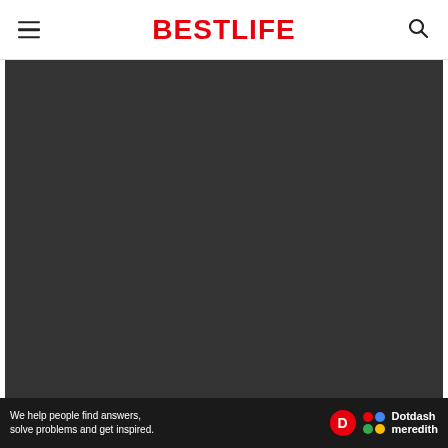BestLife
[Figure (photo): Dark/black image area, appears to be a photo with very low exposure or dark content]
We help people find answers, solve problems and get inspired. Dotdash meredith